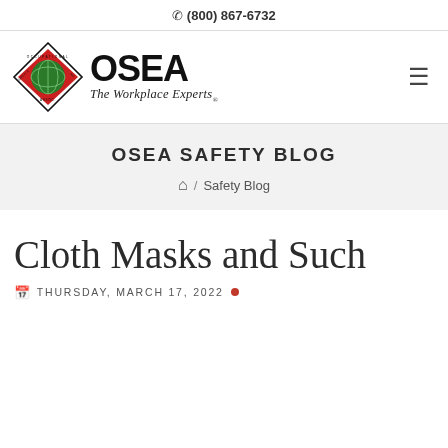(800) 867-6732
[Figure (logo): OSEA - Occupational Safety & Environmental Associates logo with diamond shape containing a globe graphic, text OSEA in bold black with tagline 'The Workplace Experts']
OSEA SAFETY BLOG
Safety Blog
Cloth Masks and Such
THURSDAY, MARCH 17, 2022